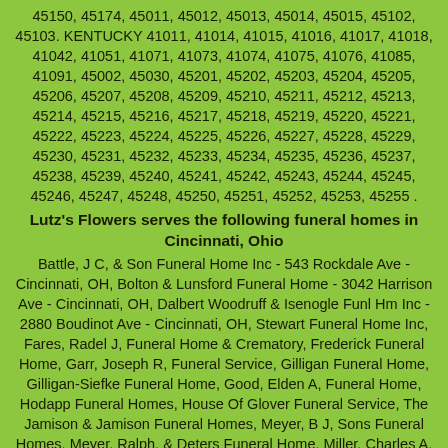45150, 45174, 45011, 45012, 45013, 45014, 45015, 45102, 45103. KENTUCKY 41011, 41014, 41015, 41016, 41017, 41018, 41042, 41051, 41071, 41073, 41074, 41075, 41076, 41085, 41091, 45002, 45030, 45201, 45202, 45203, 45204, 45205, 45206, 45207, 45208, 45209, 45210, 45211, 45212, 45213, 45214, 45215, 45216, 45217, 45218, 45219, 45220, 45221, 45222, 45223, 45224, 45225, 45226, 45227, 45228, 45229, 45230, 45231, 45232, 45233, 45234, 45235, 45236, 45237, 45238, 45239, 45240, 45241, 45242, 45243, 45244, 45245, 45246, 45247, 45248, 45250, 45251, 45252, 45253, 45255 .
Lutz's Flowers serves the following funeral homes in Cincinnati, Ohio
Battle, J C, & Son Funeral Home Inc - 543 Rockdale Ave - Cincinnati, OH, Bolton & Lunsford Funeral Home - 3042 Harrison Ave - Cincinnati, OH, Dalbert Woodruff & Isenogle Funl Hm Inc - 2880 Boudinot Ave - Cincinnati, OH, Stewart Funeral Home Inc, Fares, Radel J, Funeral Home & Crematory, Frederick Funeral Home, Garr, Joseph R, Funeral Service, Gilligan Funeral Home, Gilligan-Siefke Funeral Home, Good, Elden A, Funeral Home, Hodapp Funeral Homes, House Of Glover Funeral Service, The Jamison & Jamison Funeral Homes, Meyer, B J, Sons Funeral Homes, Meyer, Ralph, & Deters Funeral Home, Miller, Charles A, & Son, Inc, Neidhard-Minges Funeral Home, Nichols Funeral